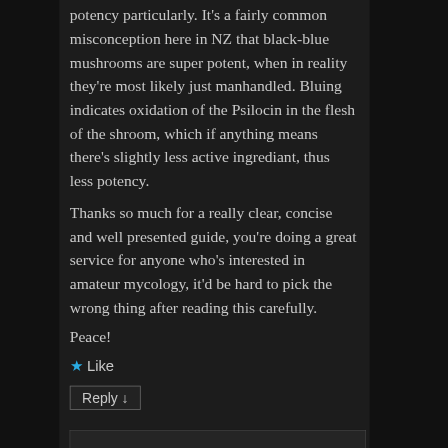potency particularly. It's a fairly common misconception here in NZ that black-blue mushrooms are super potent, when in reality they're most likely just manhandled. Bluing indicates oxidation of the Psilocin in the flesh of the shroom, which if anything means there's slightly less active ingrediant, thus less potency.
Thanks so much for a really clear, concise and well presented guide, you're doing a great service for anyone who's interested in amateur mycology, it'd be hard to pick the wrong thing after reading this carefully.
Peace!
★ Like
Reply ↓